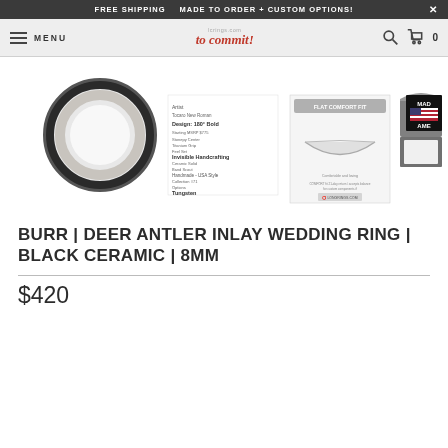FREE SHIPPING   MADE TO ORDER + CUSTOM OPTIONS!   X
MENU   lcrings.com to commit!   0
[Figure (photo): Product composite image showing: a black ceramic ring with deer antler inlay, a product spec sheet with details, a flat comfort fit diagram, a gray jewelry box (open), and a Made in America badge.]
BURR | DEER ANTLER INLAY WEDDING RING | BLACK CERAMIC | 8MM
$420